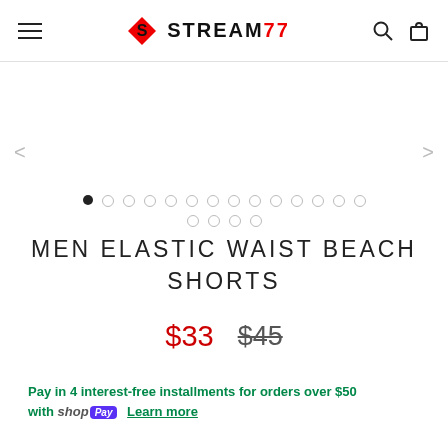STREAM77 — navigation header with hamburger menu, logo, search and cart icons
[Figure (other): Product image carousel with navigation arrows and dot indicators. 18 dots in row 1 (first filled/active), 4 open dots in row 2.]
MEN ELASTIC WAIST BEACH SHORTS
$33  $45
Pay in 4 interest-free installments for orders over $50 with Shop Pay  Learn more